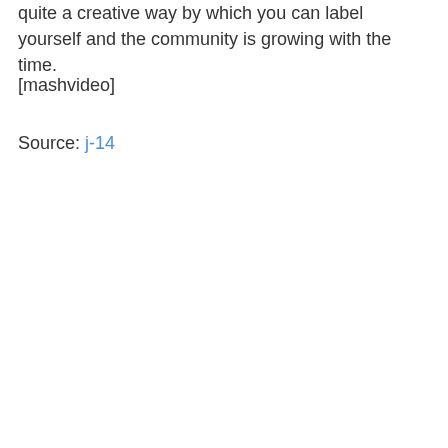quite a creative way by which you can label yourself and the community is growing with the time.
[mashvideo]
Source: j-14